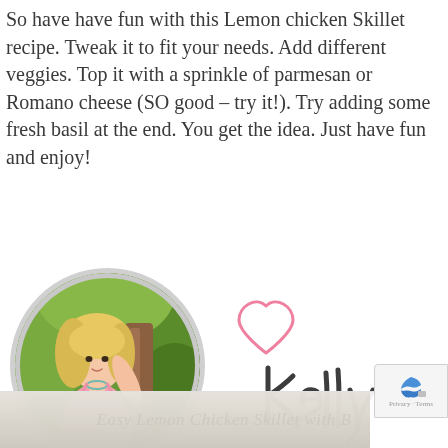So have have fun with this Lemon chicken Skillet recipe. Tweak it to fit your needs. Add different veggies. Top it with a sprinkle of parmesan or Romano cheese (SO good – try it!). Try adding some fresh basil at the end. You get the idea. Just have fun and enjoy!
[Figure (photo): Circular profile photo of Kelly, a blonde woman in a pink tank top standing outdoors near a tree with green foliage background, alongside a handwritten-style signature reading 'Kelly' with a pink heart outline above it]
Easy Lemon Chicken Skillet with B...